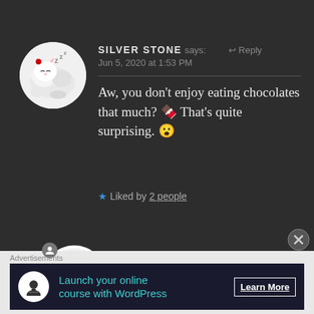SILVER STONE says: ↩ Reply
Jun 5, 2020 at 1:53 PM
Aw, you don't enjoy eating chocolates that much? 🍫 That's quite surprising. 😮
★ Liked by 2 people
THE BOLD GIRL says: Reply
Jun 5, 2020 at 2:29 PM
Advertisements
Launch your online course with WordPress Learn More